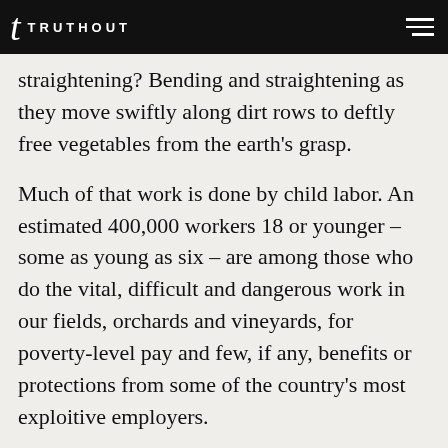TRUTHOUT
straightening? Bending and straightening as they move swiftly along dirt rows to deftly free vegetables from the earth’s grasp.
Much of that work is done by child labor. An estimated 400,000 workers 18 or younger – some as young as six – are among those who do the vital, difficult and dangerous work in our fields, orchards and vineyards, for poverty-level pay and few, if any, benefits or protections from some of the country’s most exploitive employers.